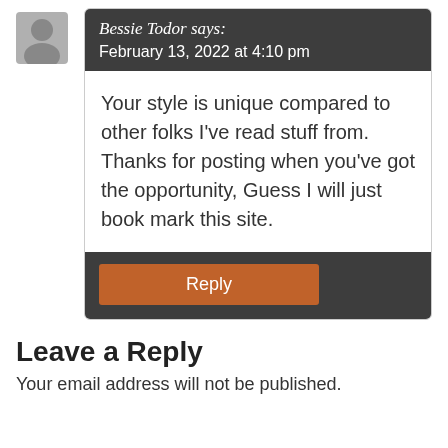[Figure (illustration): Gray silhouette avatar icon of a person]
Bessie Todor says:
February 13, 2022 at 4:10 pm
Your style is unique compared to other folks I've read stuff from. Thanks for posting when you've got the opportunity, Guess I will just book mark this site.
Reply
Leave a Reply
Your email address will not be published.